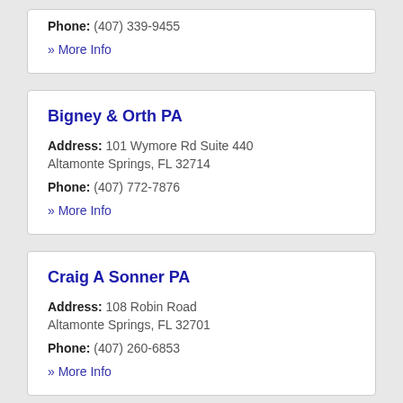Phone: (407) 339-9455
» More Info
Bigney & Orth PA
Address: 101 Wymore Rd Suite 440 Altamonte Springs, FL 32714
Phone: (407) 772-7876
» More Info
Craig A Sonner PA
Address: 108 Robin Road Altamonte Springs, FL 32701
Phone: (407) 260-6853
» More Info